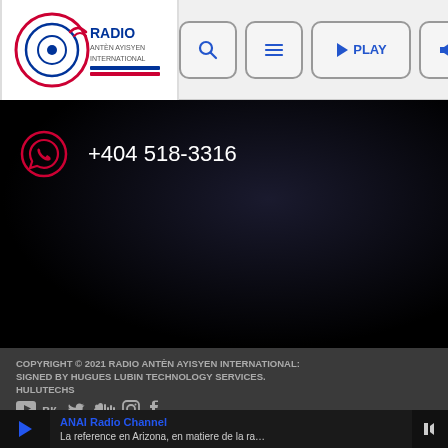[Figure (logo): Radio Antèn Ayisyen International logo with concentric circles and radio waves]
[Figure (screenshot): Navigation bar with search, menu, play, and volume buttons]
+404 518-3316
COPYRIGHT © 2021 RADIO ANTÈN AYISYEN INTERNATIONAL: SIGNED BY HUGUES LUBIN TECHNOLOGY SERVICES. HULUTECHS
[Figure (infographic): Social media icons: YouTube, VK, Twitter, SoundCloud, Instagram, Facebook]
ANAI Radio Channel
La reference en Arizona, en matiere de la ra…